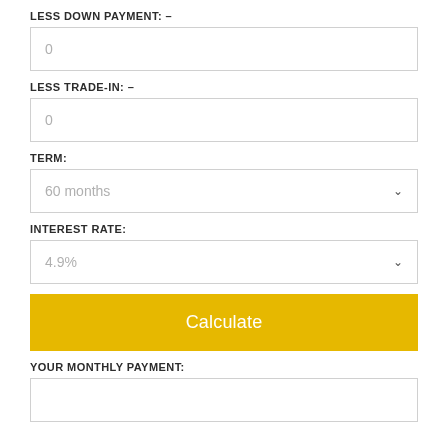LESS DOWN PAYMENT: –
0
LESS TRADE-IN: –
0
TERM:
60 months
INTEREST RATE:
4.9%
Calculate
YOUR MONTHLY PAYMENT: